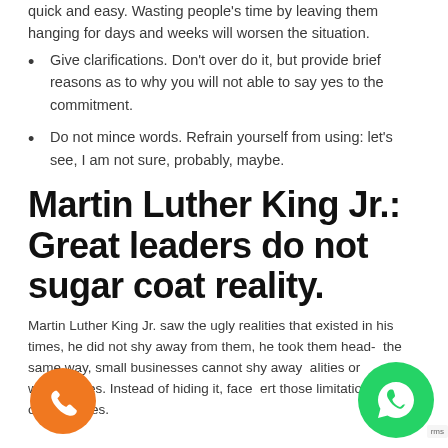quick and easy. Wasting people's time by leaving them hanging for days and weeks will worsen the situation.
Give clarifications. Don't over do it, but provide brief reasons as to why you will not able to say yes to the commitment.
Do not mince words. Refrain yourself from using: let's see, I am not sure, probably, maybe.
Martin Luther King Jr.: Great leaders do not sugar coat reality.
Martin Luther King Jr. saw the ugly realities that existed in his times, he did not shy away from them, he took them head- the same way, small businesses cannot shy away alities or weaknesses. Instead of hiding it, face ert those limitations into opportunities.